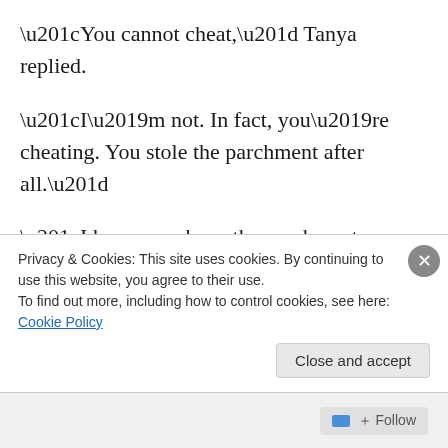“You cannot cheat,” Tanya replied.
“I’m not. In fact, you’re cheating. You stole the parchment after all.”
“I know you have the parchment. I’m not stupid.”
“So, what are you saying? You want me to fail?”
“Yes. You’re not supposed to know about the potion before the test. It’s not fair.”
“I’m not going to fail. Instead, I’ll do so well that Slytherin…
Privacy & Cookies: This site uses cookies. By continuing to use this website, you agree to their use.
To find out more, including how to control cookies, see here: Cookie Policy
Close and accept